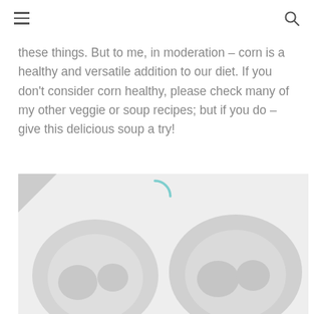[hamburger menu icon] [search icon]
these things. But to me, in moderation – corn is a healthy and versatile addition to our diet. If you don't consider corn healthy, please check many of my other veggie or soup recipes; but if you do – give this delicious soup a try!
[Figure (photo): A loading placeholder image showing two bowls of soup, with a teal loading spinner visible. The image is partially rendered with grey tones showing bowl shapes on a light grey background.]